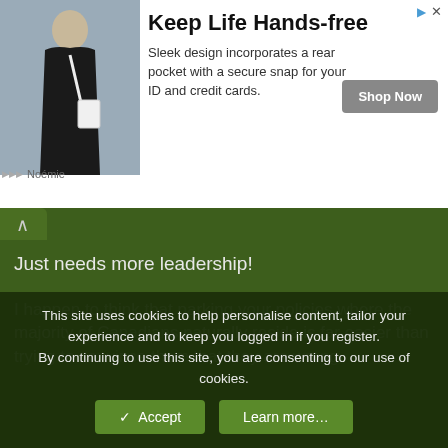[Figure (photo): Advertisement banner: woman in black dress with white crossbody bag. Text: 'Keep Life Hands-free. Sleek design incorporates a rear pocket with a secure snap for your ID and credit cards.' Shop Now button. Brand: Noémie.]
Just needs more leadership!
I happen to think that parking your policies where the majority of Canadians naturally reside is far easier than trying to convince them that they are wrong.
KevinB said: ↑
I am absolutely disgusted in the CPC for their woeful platforms. It seems half of them where thrown at a wall to see if they stuck. They also don't seem to understand that when one has some key party platform that are easy attacked - they need to have rock solid data and a crisis management team on 24/7 to deal with these issues.
This site uses cookies to help personalise content, tailor your experience and to keep you logged in if you register.
By continuing to use this site, you are consenting to our use of cookies.